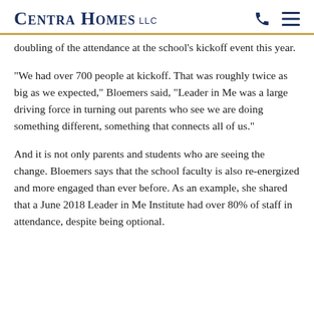CENTRA HOMES LLC
doubling of the attendance at the school's kickoff event this year.
“We had over 700 people at kickoff. That was roughly twice as big as we expected,” Bloemers said, “Leader in Me was a large driving force in turning out parents who see we are doing something different, something that connects all of us.”
And it is not only parents and students who are seeing the change. Bloemers says that the school faculty is also re-energized and more engaged than ever before. As an example, she shared that a June 2018 Leader in Me Institute had over 80% of staff in attendance, despite being optional.